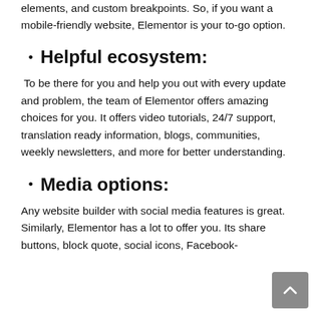elements, and custom breakpoints. So, if you want a mobile-friendly website, Elementor is your to-go option.
Helpful ecosystem:
To be there for you and help you out with every update and problem, the team of Elementor offers amazing choices for you. It offers video tutorials, 24/7 support, translation ready information, blogs, communities, weekly newsletters, and more for better understanding.
Media options:
Any website builder with social media features is great. Similarly, Elementor has a lot to offer you. Its share buttons, block quote, social icons, Facebook-